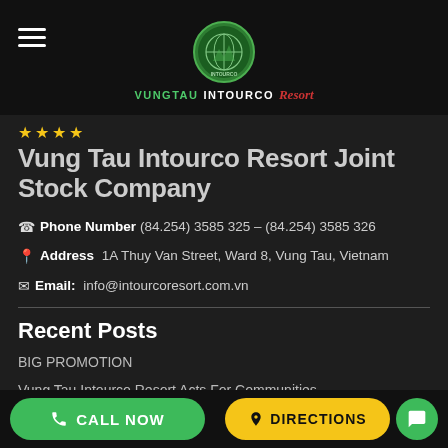[Figure (logo): Vung Tau Intourco Resort logo — green circular emblem with globe/resort imagery, text 'VUNGTAU INTOURCO Resort' below in green, white and red italic]
Vung Tau Intourco Resort Joint Stock Company
Phone Number (84.254) 3585 325 – (84.254) 3585 326
Address 1A Thuy Van Street, Ward 8, Vung Tau, Vietnam
Email: info@intourcoresort.com.vn
Recent Posts
BIG PROMOTION
Vung Tau Intourco Resort Acts For Communities